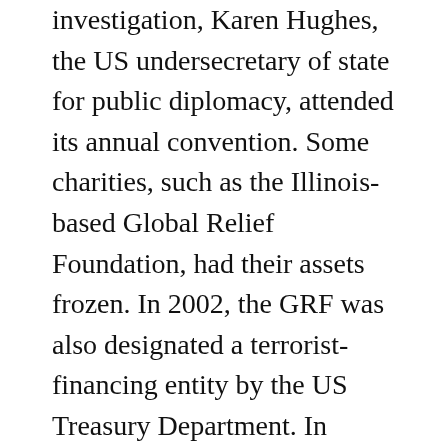investigation, Karen Hughes, the US undersecretary of state for public diplomacy, attended its annual convention. Some charities, such as the Illinois-based Global Relief Foundation, had their assets frozen. In 2002, the GRF was also designated a terrorist-financing entity by the US Treasury Department. In launching their inquiry in December 2003, Senators Grassley and Max Baucus, the committee's ranking Democrat, had expressed concerns that charities and foundations play a crucial role in terror financing. Some Muslims, however, protested that the Senate investigation unfairly cast a cloud over many groups. It was really just a fishing expedition, said Ibrahim Hooper, spokesman at the Council on American-Islamic